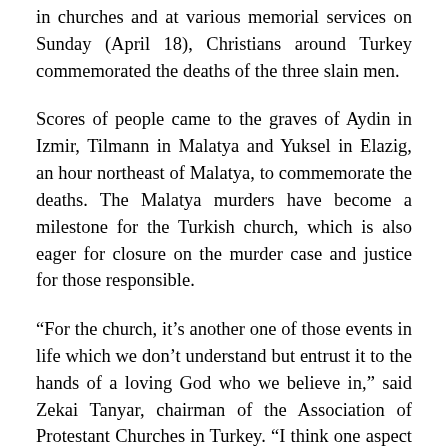in churches and at various memorial services on Sunday (April 18), Christians around Turkey commemorated the deaths of the three slain men.
Scores of people came to the graves of Aydin in Izmir, Tilmann in Malatya and Yuksel in Elazig, an hour northeast of Malatya, to commemorate the deaths. The Malatya murders have become a milestone for the Turkish church, which is also eager for closure on the murder case and justice for those responsible.
“For the church, it’s another one of those events in life which we don’t understand but entrust it to the hands of a loving God who we believe in,” said Zekai Tanyar, chairman of the Association of Protestant Churches in Turkey. “I think one aspect is that the church in Turkey said this does not pull us away from the Lord; we continue